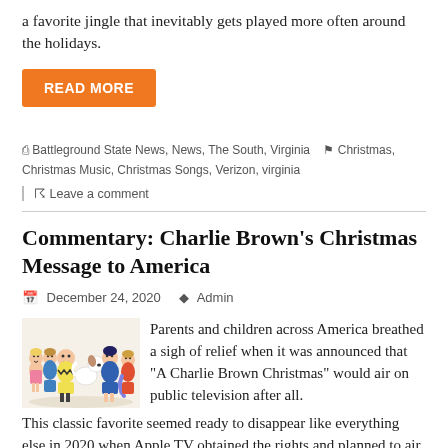a favorite jingle that inevitably gets played more often around the holidays.
READ MORE
Battleground State News, News, The South, Virginia  Christmas, Christmas Music, Christmas Songs, Verizon, virginia
Leave a comment
Commentary: Charlie Brown's Christmas Message to America
December 24, 2020   Admin
[Figure (illustration): Peanuts cartoon characters including Charlie Brown, Snoopy, Lucy, Linus, Sally and others grouped together]
Parents and children across America breathed a sigh of relief when it was announced that “A Charlie Brown Christmas” would air on public television after all. This classic favorite seemed ready to disappear like everything else in 2020 when Apple TV obtained the rights and planned to air the program on its streaming